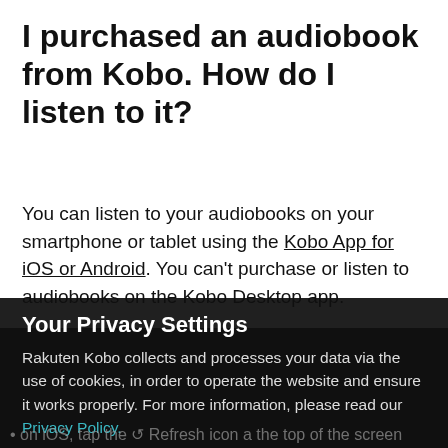I purchased an audiobook from Kobo. How do I listen to it?
You can listen to your audiobooks on your smartphone or tablet using the Kobo App for iOS or Android. You can't purchase or listen to audiobooks on the Kobo Desktop app.
After you've installed the Kobo App on your iOS or Android device, you'll need to sync the Kobo App to get the audiobook.
To sync your Kobo App:
Your Privacy Settings
Rakuten Kobo collects and processes your data via the use of cookies, in order to operate the website and ensure it works properly. For more information, please read our Privacy Policy.
Ok
on iOS, tap the Refresh icon a the top of the screen